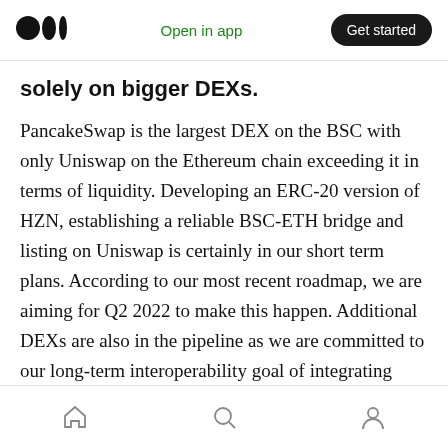Open in app | Get started
solely on bigger DEXs.
PancakeSwap is the largest DEX on the BSC with only Uniswap on the Ethereum chain exceeding it in terms of liquidity. Developing an ERC-20 version of HZN, establishing a reliable BSC-ETH bridge and listing on Uniswap is certainly in our short term plans. According to our most recent roadmap, we are aiming for Q2 2022 to make this happen. Additional DEXs are also in the pipeline as we are committed to our long-term interoperability goal of integrating with many blockchains.
Home | Search | Profile